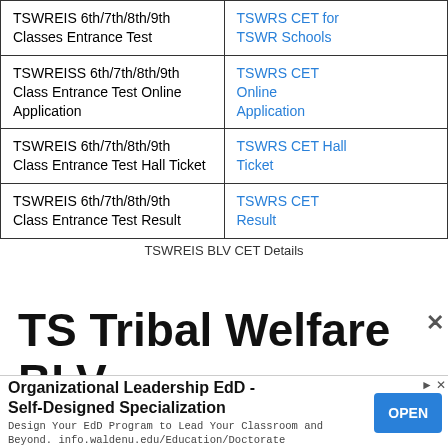| Topic | Link |
| --- | --- |
| TSWREIS 6th/7th/8th/9th Classes Entrance Test | TSWRS CET for TSWR Schools |
| TSWREISS 6th/7th/8th/9th Class Entrance Test Online Application | TSWRS CET Online Application |
| TSWREIS 6th/7th/8th/9th Class Entrance Test Hall Ticket | TSWRS CET Hall Ticket |
| TSWREIS 6th/7th/8th/9th Class Entrance Test Result | TSWRS CET Result |
TSWREIS BLV CET Details
TS Tribal Welfare BLV
[Figure (other): Advertisement banner: Organizational Leadership EdD - Self-Designed Specialization. Design Your EdD Program to Lead Your Classroom and Beyond. info.waldenu.edu/Education/Doctorate. Open button on right.]